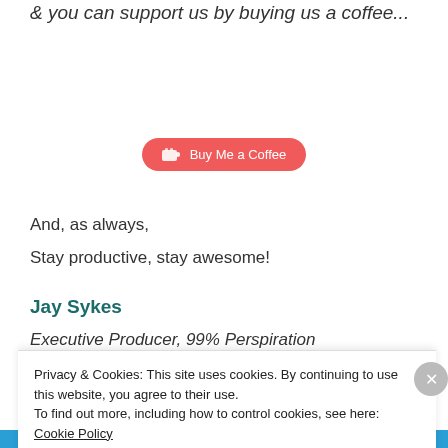There's much 'merch' on our RedBubble & you can support us by buying us a coffee...
[Figure (other): Buy Me a Coffee button - a red pill-shaped button with a coffee cup icon and text 'Buy Me a Coffee']
And, as always,
Stay productive, stay awesome!
Jay Sykes
Executive Producer, 99% Perspiration
Advertisements
Privacy & Cookies: This site uses cookies. By continuing to use this website, you agree to their use. To find out more, including how to control cookies, see here: Cookie Policy
Close and accept